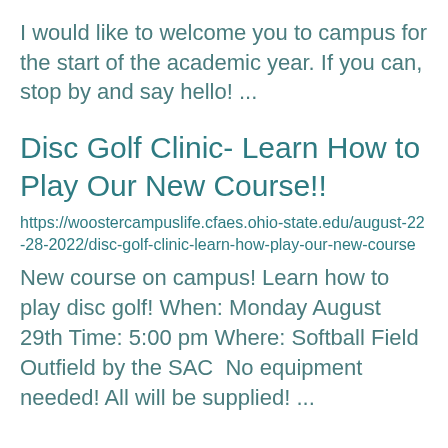I would like to welcome you to campus for the start of the academic year. If you can, stop by and say hello! ...
Disc Golf Clinic- Learn How to Play Our New Course!!
https://woostercampuslife.cfaes.ohio-state.edu/august-22-28-2022/disc-golf-clinic-learn-how-play-our-new-course
New course on campus! Learn how to play disc golf! When: Monday August 29th Time: 5:00 pm Where: Softball Field Outfield by the SAC  No equipment needed! All will be supplied! ...